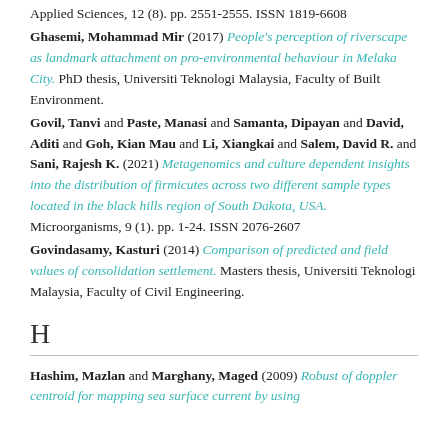Applied Sciences, 12 (8). pp. 2551-2555. ISSN 1819-6608
Ghasemi, Mohammad Mir (2017) People's perception of riverscape as landmark attachment on pro-environmental behaviour in Melaka City. PhD thesis, Universiti Teknologi Malaysia, Faculty of Built Environment.
Govil, Tanvi and Paste, Manasi and Samanta, Dipayan and David, Aditi and Goh, Kian Mau and Li, Xiangkai and Salem, David R. and Sani, Rajesh K. (2021) Metagenomics and culture dependent insights into the distribution of firmicutes across two different sample types located in the black hills region of South Dakota, USA. Microorganisms, 9 (1). pp. 1-24. ISSN 2076-2607
Govindasamy, Kasturi (2014) Comparison of predicted and field values of consolidation settlement. Masters thesis, Universiti Teknologi Malaysia, Faculty of Civil Engineering.
H
Hashim, Mazlan and Marghany, Maged (2009) Robust of doppler centroid for mapping sea surface current by using RADARSAT-1 SAR data.